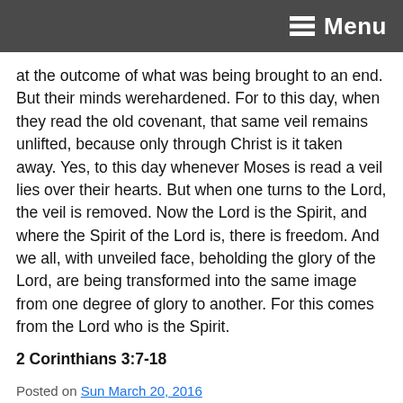Menu
at the outcome of what was being brought to an end. But their minds werehardened. For to this day, when they read the old covenant, that same veil remains unlifted, because only through Christ is it taken away. Yes, to this day whenever Moses is read a veil lies over their hearts. But when one turns to the Lord, the veil is removed. Now the Lord is the Spirit, and where the Spirit of the Lord is, there is freedom. And we all, with unveiled face, beholding the glory of the Lord, are being transformed into the same image from one degree of glory to another. For this comes from the Lord who is the Spirit.
2 Corinthians 3:7-18
Posted on Sun March 20, 2016
Posted in Sermons and tagged Craig Palmer.
[Figure (other): Facebook Share button]